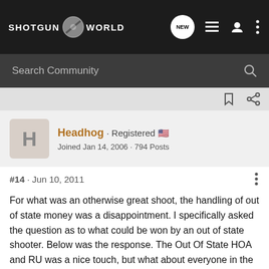SHOTGUN WORLD
Search Community
Headhog · Registered
Joined Jan 14, 2006 · 794 Posts
#14 · Jun 10, 2011
For what was an otherwise great shoot, the handling of out of state money was a disappointment. I specifically asked the question as to what could be won by an out of state shooter. Below was the response. The Out Of State HOA and RU was a nice touch, but what about everyone in the other classes? Another... urrent options ...club